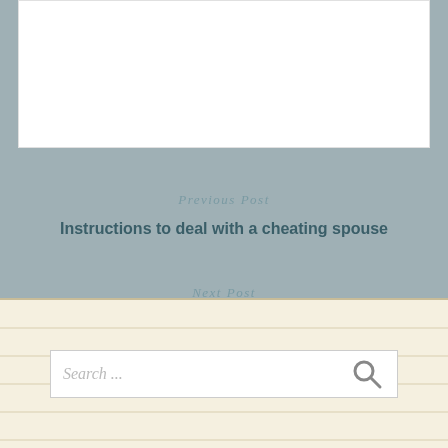[Figure (other): White rectangular banner/image area at top of page]
Previous Post
Instructions to deal with a cheating spouse
Next Post
Is Business Social Media Marketing Still Worth It?
[Figure (illustration): Illustration of a yellow pencil with pink eraser and dark tip, oriented horizontally]
[Figure (other): Lined notepad/search panel at bottom with horizontal ruled lines and a search input box containing placeholder text 'Search ...' and a magnifying glass icon]